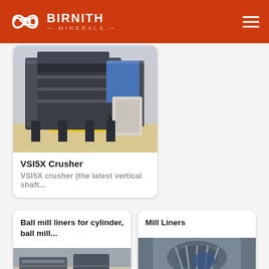BIRNITH MINERALS
[Figure (photo): VSI5X Crusher machine in industrial facility]
VSI5X Crusher
VSI5X crusher (the latest vertical shaft...
Ball mill liners for cylinder, ball mill...
[Figure (photo): Ball mill liners equipment photo]
Mill Liners
[Figure (photo): Mill liners photo showing interior of mill]